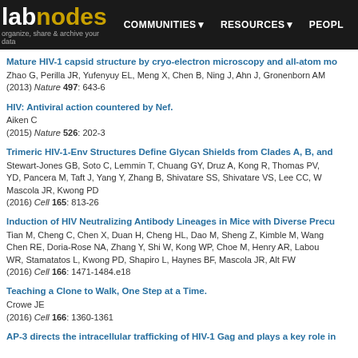labnodes — organize, share & archive your data | COMMUNITIES | RESOURCES | PEOPLE
Mature HIV-1 capsid structure by cryo-electron microscopy and all-atom mo...
Zhao G, Perilla JR, Yufenyuy EL, Meng X, Chen B, Ning J, Ahn J, Gronenborn AM...
(2013) Nature 497: 643-6
HIV: Antiviral action countered by Nef.
Aiken C
(2015) Nature 526: 202-3
Trimeric HIV-1-Env Structures Define Glycan Shields from Clades A, B, and...
Stewart-Jones GB, Soto C, Lemmin T, Chuang GY, Druz A, Kong R, Thomas PV,... YD, Pancera M, Taft J, Yang Y, Zhang B, Shivatare SS, Shivatare VS, Lee CC, W... Mascola JR, Kwong PD
(2016) Cell 165: 813-26
Induction of HIV Neutralizing Antibody Lineages in Mice with Diverse Precu...
Tian M, Cheng C, Chen X, Duan H, Cheng HL, Dao M, Sheng Z, Kimble M, Wang... Chen RE, Doria-Rose NA, Zhang Y, Shi W, Kong WP, Choe M, Henry AR, Labou... WR, Stamatatos L, Kwong PD, Shapiro L, Haynes BF, Mascola JR, Alt FW
(2016) Cell 166: 1471-1484.e18
Teaching a Clone to Walk, One Step at a Time.
Crowe JE
(2016) Cell 166: 1360-1361
AP-3 directs the intracellular trafficking of HIV-1 Gag and plays a key role in...